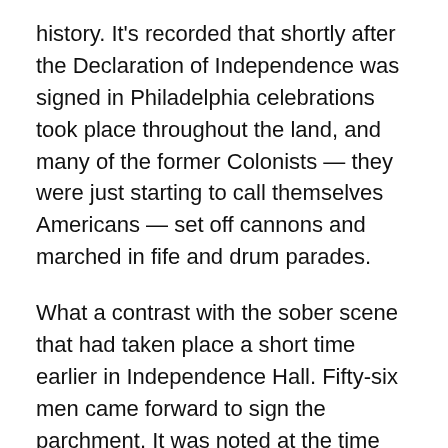history. It's recorded that shortly after the Declaration of Independence was signed in Philadelphia celebrations took place throughout the land, and many of the former Colonists — they were just starting to call themselves Americans — set off cannons and marched in fife and drum parades.
What a contrast with the sober scene that had taken place a short time earlier in Independence Hall. Fifty-six men came forward to sign the parchment. It was noted at the time that they pledged their lives, their fortunes, and their sacred honors. And that was more than rhetoric; each of those men knew the penalty for high treason to the Crown. “We must all hang together,” Benjamin Franklin said, “or, assuredly, we will all hang separately.” And John Hancock, it is said, wrote his signature in large script so King George could see it without his spectacles. The